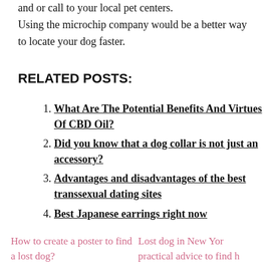and or call to your local pet centers. Using the microchip company would be a better way to locate your dog faster.
RELATED POSTS:
What Are The Potential Benefits And Virtues Of CBD Oil?
Did you know that a dog collar is not just an accessory?
Advantages and disadvantages of the best transsexual dating sites
Best Japanese earrings right now
How to create a poster to find a lost dog? | Lost dog in New Yor practical advice to find h